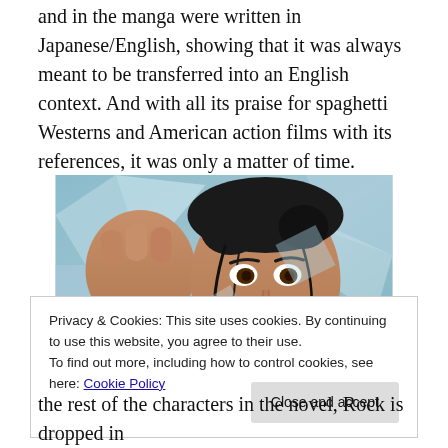and in the manga were written in Japanese/English, showing that it was always meant to be transferred into an English context. And with all its praise for spaghetti Westerns and American action films with its references, it was only a matter of time.
[Figure (illustration): Manga-style illustration of a male character with dark hair, grinning, with shattered glass or crystal shapes around him, wearing a dark outfit.]
Privacy & Cookies: This site uses cookies. By continuing to use this website, you agree to their use.
To find out more, including how to control cookies, see here: Cookie Policy
the rest of the characters in the novel, Rock is dropped in